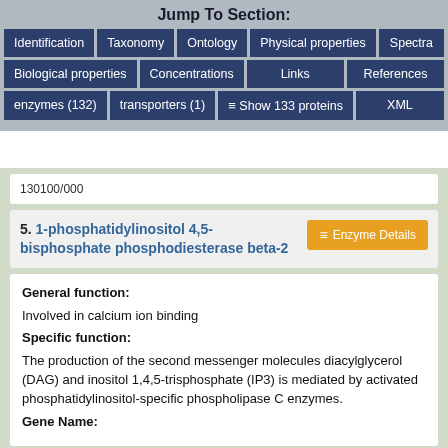Jump To Section:
Identification | Taxonomy | Ontology | Physical properties | Spectra
Biological properties | Concentrations | Links | References
enzymes (132) | transporters (1) | Show 133 proteins | XML
130100/000
5. 1-phosphatidylinositol 4,5-bisphosphate phosphodiesterase beta-2
Enzyme Details
General function:
Involved in calcium ion binding
Specific function:
The production of the second messenger molecules diacylglycerol (DAG) and inositol 1,4,5-trisphosphate (IP3) is mediated by activated phosphatidylinositol-specific phospholipase C enzymes.
Gene Name: